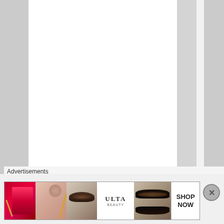[Figure (screenshot): A webpage layout with alternating white and gray vertical stripes/columns. In the rightmost visible gray column, vertical text reads 'r e w a s d e f i n i t e l y s o m' (part of a longer word/phrase). The layout appears to be a website with sidebar navigation columns.]
Advertisements
[Figure (photo): Advertisement banner strip showing beauty/makeup themed images: lips with red lipstick and brush, woman with blush brush, eye with dramatic makeup, ULTA Beauty logo, eyes with dramatic makeup, and a 'SHOP NOW' call-to-action button. There is also a close/X button overlay.]